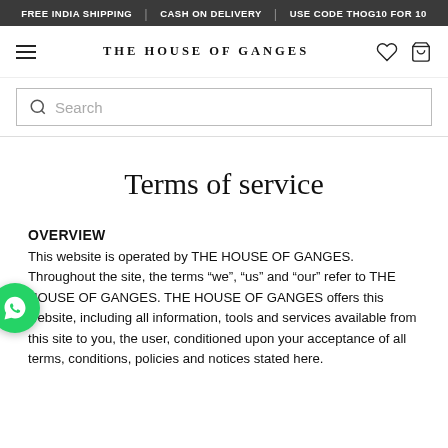FREE INDIA SHIPPING | CASH ON DELIVERY | USE CODE THOG10 FOR 10
THE HOUSE OF GANGES
[Figure (screenshot): Search bar with magnifying glass icon and placeholder text 'Search']
Terms of service
OVERVIEW
This website is operated by THE HOUSE OF GANGES. Throughout the site, the terms “we”, “us” and “our” refer to THE HOUSE OF GANGES. THE HOUSE OF GANGES offers this website, including all information, tools and services available from this site to you, the user, conditioned upon your acceptance of all terms, conditions, policies and notices stated here.